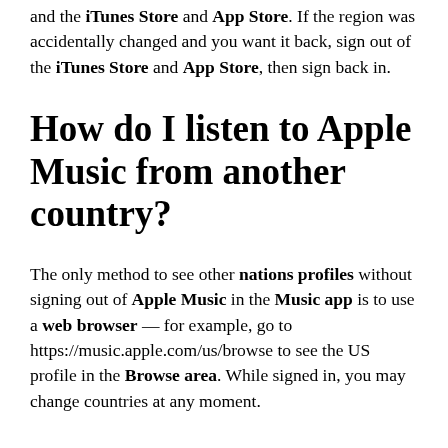and the iTunes Store and App Store. If the region was accidentally changed and you want it back, sign out of the iTunes Store and App Store, then sign back in.
How do I listen to Apple Music from another country?
The only method to see other nations profiles without signing out of Apple Music in the Music app is to use a web browser — for example, go to https://music.apple.com/us/browse to see the US profile in the Browse area. While signed in, you may change countries at any moment.